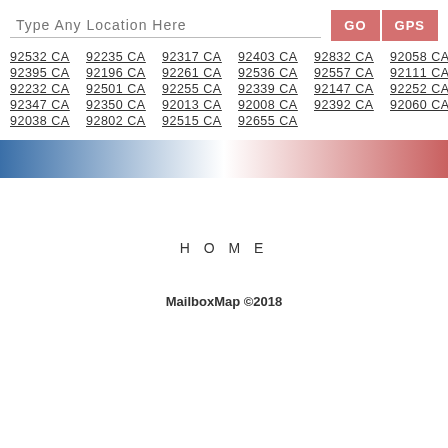Type Any Location Here
GO  GPS
92532 CA  92235 CA  92317 CA  92403 CA  92832 CA  92058 CA
92395 CA  92196 CA  92261 CA  92536 CA  92557 CA  92111 CA
92232 CA  92501 CA  92255 CA  92339 CA  92147 CA  92252 CA
92347 CA  92350 CA  92013 CA  92008 CA  92392 CA  92060 CA
92038 CA  92802 CA  92515 CA  92655 CA
[Figure (infographic): A horizontal color gradient bar split into two halves: left half fades from blue to white, right half fades from white to red.]
H O M E
MailboxMap ©2018